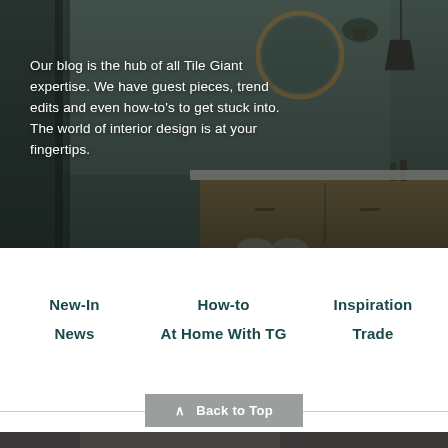[Figure (photo): Bathroom interior photo showing a modern vanity with wooden cabinet, round mirror with wooden frame, pendant light, and plant, overlaid with white text]
Our blog is the hub of all Tile Giant expertise. We have guest pieces, trend edits and even how-to's to get stuck into. The world of interior design is at your fingertips.
New-In
How-to
Inspiration
News
At Home With TG
Trade
∧ Back to Top
[Figure (photo): Partial view of another image at the bottom of the page, appears to be a dark tiled surface or bathroom scene]